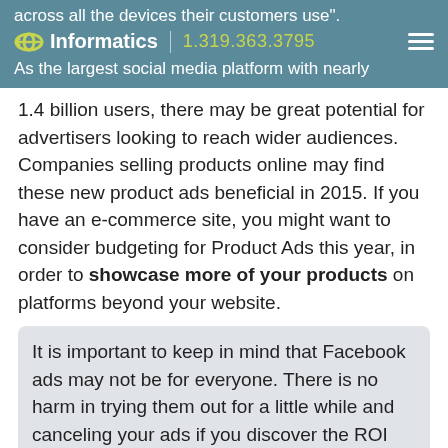across all the devices their customers use". Informatics | 1.319.363.3795 As the largest social media platform with nearly
1.4 billion users, there may be great potential for advertisers looking to reach wider audiences. Companies selling products online may find these new product ads beneficial in 2015. If you have an e-commerce site, you might want to consider budgeting for Product Ads this year, in order to showcase more of your products on platforms beyond your website.
It is important to keep in mind that Facebook ads may not be for everyone. There is no harm in trying them out for a little while and canceling your ads if you discover the ROI isn't what you thought it would be.